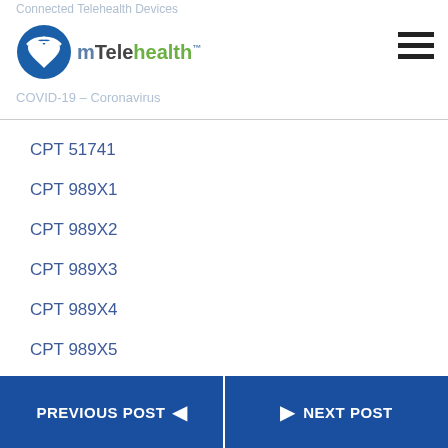Connected Telehealth Devices | mTelehealth | COVID-19 – Coronavirus
CPT 51741
CPT 989X1
CPT 989X2
CPT 989X3
CPT 989X4
CPT 989X5
CPT code 98975
PREVIOUS POST | NEXT POST